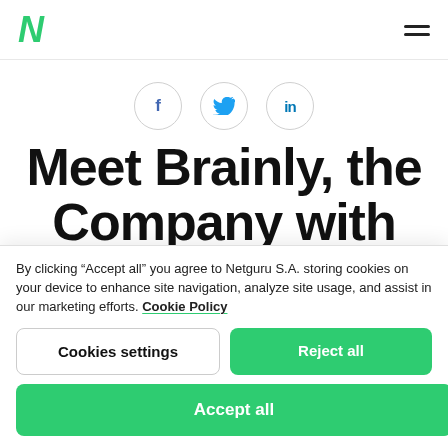N (Netguru logo) | hamburger menu
[Figure (infographic): Social sharing icons: Facebook (f), Twitter (bird), LinkedIn (in) — each in a circle outline]
Meet Brainly, the Company with 200M Users That Changes the
By clicking “Accept all” you agree to Netguru S.A. storing cookies on your device to enhance site navigation, analyze site usage, and assist in our marketing efforts. Cookie Policy
Cookies settings | Reject all
Accept all